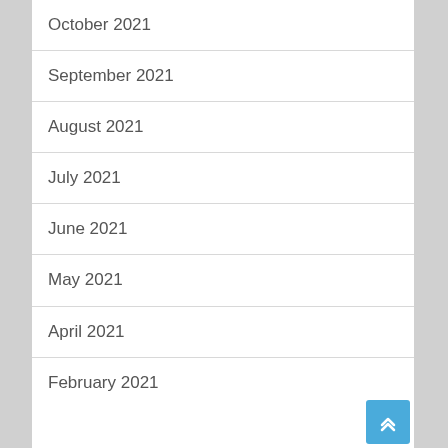October 2021
September 2021
August 2021
July 2021
June 2021
May 2021
April 2021
February 2021